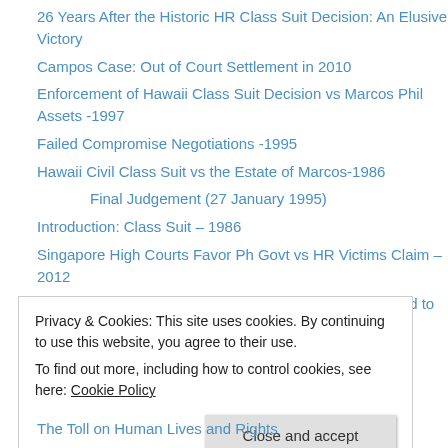26 Years After the Historic HR Class Suit Decision: An Elusive Victory
Campos Case: Out of Court Settlement in 2010
Enforcement of Hawaii Class Suit Decision vs Marcos Phil Assets -1997
Failed Compromise Negotiations -1995
Hawaii Civil Class Suit vs the Estate of Marcos-1986
Final Judgement (27 January 1995)
Introduction: Class Suit – 1986
Singapore High Courts Favor Ph Govt vs HR Victims Claim – 2012
Swiss Gov't Forfeiture of Marcos Accounts and Escrowed to PNB -1997
Swiss Government and Court Decisions
Privacy & Cookies: This site uses cookies. By continuing to use this website, you agree to their use.
To find out more, including how to control cookies, see here: Cookie Policy
The Toll on Human Lives and Rights